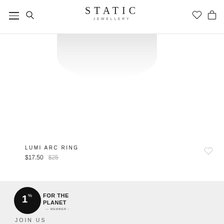STATIC JEWELLERY
[Figure (photo): Product image area showing partial view of jewelry item on white background]
LUMI ARC RING $17.50 $25
ELLIPSE BR... $30.10 $4...
[Figure (logo): 1% for the Planet member logo - black circle with 1% text and FOR THE PLANET text]
JOIN US
Subscribe to receive updates, access to exclusive deals, and